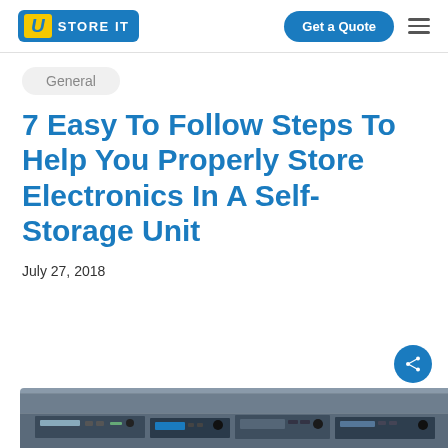U STORE IT — Get a Quote
General
7 Easy To Follow Steps To Help You Properly Store Electronics In A Self-Storage Unit
July 27, 2018
[Figure (photo): Photo of stacked electronics devices including stereo equipment and receivers in a self-storage unit]